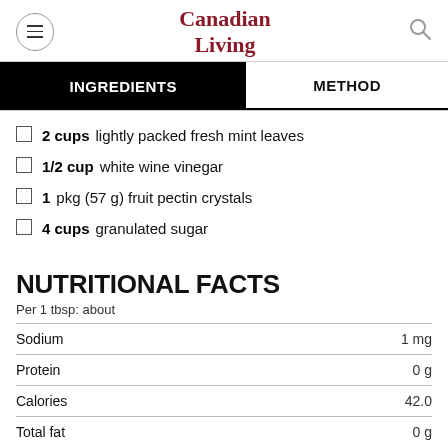Canadian Living
INGREDIENTS | METHOD
2 cups  lightly packed fresh mint leaves
1/2 cup  white wine vinegar
1  pkg (57 g) fruit pectin crystals
4 cups  granulated sugar
NUTRITIONAL FACTS
Per 1 tbsp: about
|  |  |
| --- | --- |
| Sodium | 1 mg |
| Protein | 0 g |
| Calories | 42.0 |
| Total fat | 0 g |